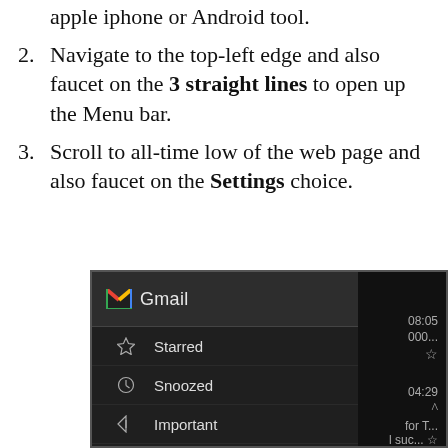apple iphone or Android tool.
Navigate to the top-left edge and also faucet on the 3 straight lines to open up the Menu bar.
Scroll to all-time low of the web page and also faucet on the Settings choice.
[Figure (screenshot): Gmail mobile app dark-mode navigation menu showing Starred, Snoozed, Important (2), Sent, Scheduled options with a user avatar 'S' in orange.]